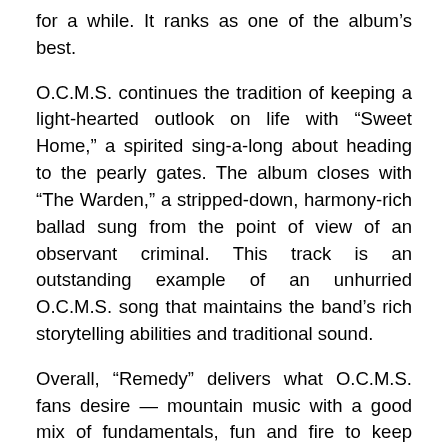for a while. It ranks as one of the album's best.
O.C.M.S. continues the tradition of keeping a light-hearted outlook on life with “Sweet Home,” a spirited sing-a-long about heading to the pearly gates. The album closes with “The Warden,” a stripped-down, harmony-rich ballad sung from the point of view of an observant criminal. This track is an outstanding example of an unhurried O.C.M.S. song that maintains the band’s rich storytelling abilities and traditional sound.
Overall, “Remedy” delivers what O.C.M.S. fans desire — mountain music with a good mix of fundamentals, fun and fire to keep things moving forward. The few weak spots on the album are overshadowed by the boot-stomping, hand clapping pace, strong songwriting, and consistent mingling of harmonica, fiddle and banjo across tracks. This album